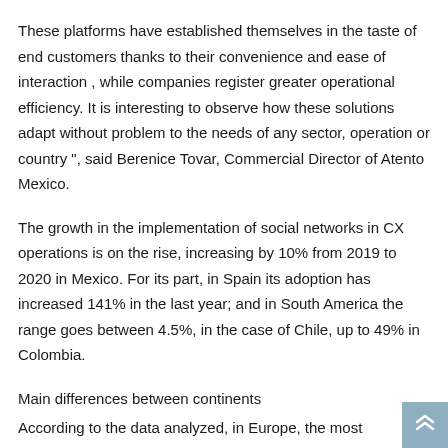These platforms have established themselves in the taste of end customers thanks to their convenience and ease of interaction , while companies register greater operational efficiency. It is interesting to observe how these solutions adapt without problem to the needs of any sector, operation or country ", said Berenice Tovar, Commercial Director of Atento Mexico.
The growth in the implementation of social networks in CX operations is on the rise, increasing by 10% from 2019 to 2020 in Mexico. For its part, in Spain its adoption has increased 141% in the last year; and in South America the range goes between 4.5%, in the case of Chile, up to 49% in Colombia.
Main differences between continents
According to the data analyzed, in Europe, the most